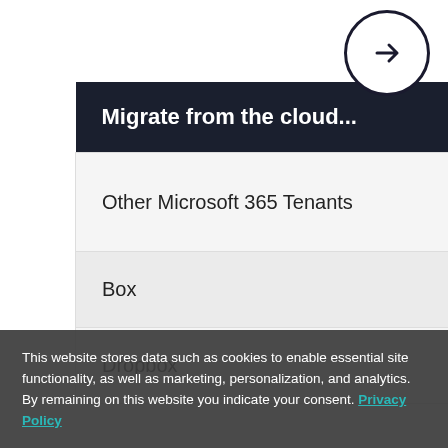| Migrate from the cloud... | Or migrate from on-prem... |
| --- | --- |
| Other Microsoft 365 Tenants | SharePoint 2003 / 2007 / 2010 / 2013 / 2016 |
| Box | File systems & Networked shares |
| Dropbox | Exchange: Public Folders |
| Slack | OpenText Livelink |
This website stores data such as cookies to enable essential site functionality, as well as marketing, personalization, and analytics. By remaining on this website you indicate your consent. Privacy Policy